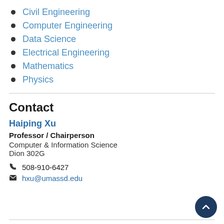Civil Engineering
Computer Engineering
Data Science
Electrical Engineering
Mathematics
Physics
Contact
Haiping Xu
Professor / Chairperson
Computer & Information Science
Dion 302G
508-910-6427
hxu@umassd.edu